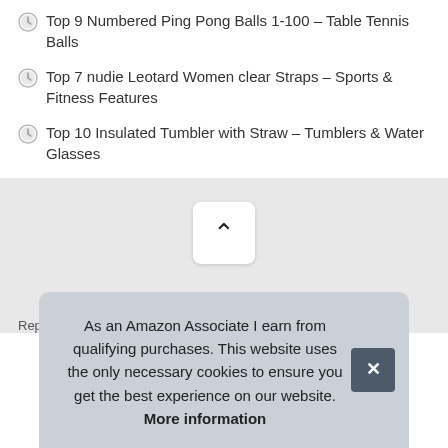Top 9 Numbered Ping Pong Balls 1-100 – Table Tennis Balls
Top 7 nudie Leotard Women clear Straps – Sports & Fitness Features
Top 10 Insulated Tumbler with Straw – Tumblers & Water Glasses
[Figure (other): Scroll-to-top button with upward chevron arrow on gray background]
RepeeRon © 2022. All Rights Reserved.
Repeeron.com is a participant in the Amazon Services LLC Ass...
As an Amazon Associate I earn from qualifying purchases. This website uses the only necessary cookies to ensure you get the best experience on our website. More information